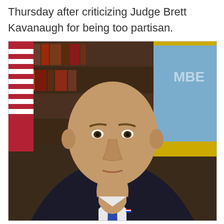Thursday after criticizing Judge Brett Kavanaugh for being too partisan.
[Figure (photo): Official portrait photograph of a bald man in a dark suit with a blue tie, an American flag pin on his lapel, standing in front of bookshelves and a light blue flag with yellow fringe.]